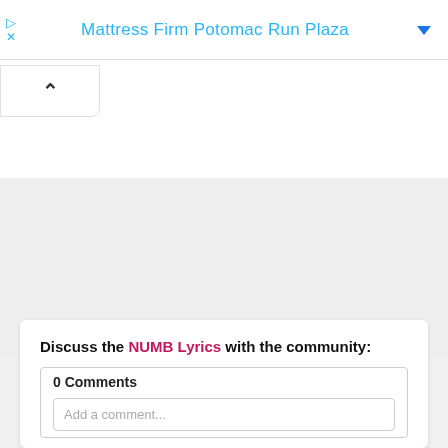Mattress Firm Potomac Run Plaza
[Figure (screenshot): Collapsed ad UI with play and close icons on the left, title 'Mattress Firm Potomac Run Plaza' in blue centered, and a blue dropdown arrow on the right. Below is a white panel with a collapse/chevron-up button.]
Discuss the NUMB Lyrics with the community:
0 Comments
Add a comment...